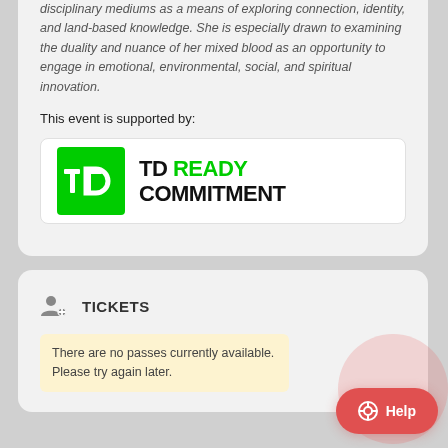disciplinary mediums as a means of exploring connection, identity, and land-based knowledge. She is especially drawn to examining the duality and nuance of her mixed blood as an opportunity to engage in emotional, environmental, social, and spiritual innovation.
This event is supported by:
[Figure (logo): TD Ready Commitment logo: green TD shield on left, bold text 'TD READY COMMITMENT' on right with READY in green and COMMITMENT in black]
TICKETS
There are no passes currently available. Please try again later.